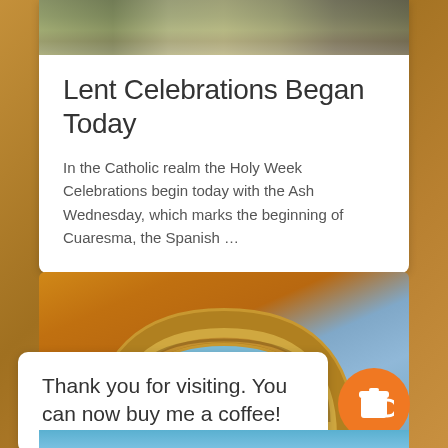[Figure (photo): Top photo showing outdoor scene with trees and pathway, partially visible at top of white card]
Lent Celebrations Began Today
In the Catholic realm the Holy Week Celebrations begin today with the Ash Wednesday, which marks the beginning of Cuaresma, the Spanish …
[Figure (photo): Photo of a stone arch (architectural ruin or church) against a blue sky, with yellow/ochre stonework]
Thank you for visiting. You can now buy me a coffee!
[Figure (illustration): Orange circular coffee cup button/badge with a white takeaway coffee cup icon]